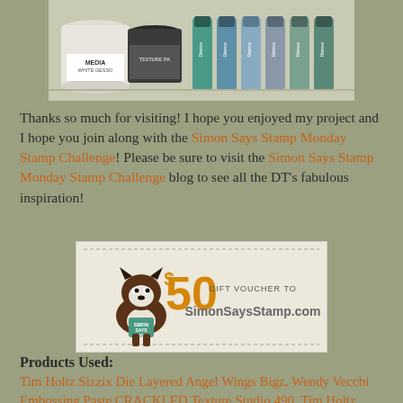[Figure (photo): Photo of craft supply products including a white gesso jar, texture paste container, and several Distress Paint bottles in teal, blue, and grey colors arranged on a surface]
Thanks so much for visiting! I hope you enjoyed my project and I hope you join along with the Simon Says Stamp Monday Stamp Challenge! Please be sure to visit the Simon Says Stamp Monday Stamp Challenge blog to see all the DT's fabulous inspiration!
[Figure (photo): $50 Gift Voucher to SimonSaysStamp.com advertisement banner with a Boston Terrier dog mascot]
Products Used:
Tim Holtz Sizzix Die Layered Angel Wings Bigz, Wendy Vecchi Embossing Paste CRACKLED Texture Studio 490, Tim Holtz Sizzix Die SNOWFLAKE ROSETTE Decorative Strip, Tim Holtz Idea-ology PAPER STASH FRENCH INDUSTRIAL 12 x 12, Ranger MANILA TAGS #8 Craft Inkssentials Surfaces, Tim Holtz Core'dinations DISTRESS ColorCore 12 x 12 Cardstock, Tim Holtz Sizzix Die MINI HEARTS SET Movers and Shapers Alterations, Ranger Texture Paste, Tim Holtz Latticework